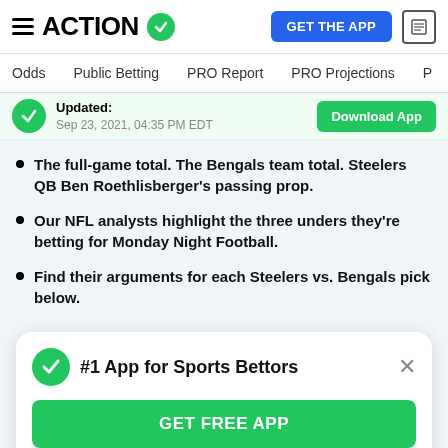ACTION — GET THE APP
Odds | Public Betting | PRO Report | PRO Projections
Updated: Sep 23, 2021, 04:35 PM EDT — Download App
The full-game total. The Bengals team total. Steelers QB Ben Roethlisberger's passing prop.
Our NFL analysts highlight the three unders they're betting for Monday Night Football.
Find their arguments for each Steelers vs. Bengals pick below.
#1 App for Sports Bettors — GET FREE APP